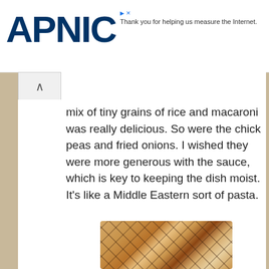[Figure (logo): APNIC logo in dark navy blue bold text]
Thank you for helping us measure the Internet.
mix of tiny grains of rice and macaroni was really delicious. So were the chick peas and fried onions. I wished they were more generous with the sauce, which is key to keeping the dish moist. It’s like a Middle Eastern sort of pasta.
[Figure (photo): Photo of a round grilled flatbread with char marks, placed in a white paper bag on a wooden surface.]